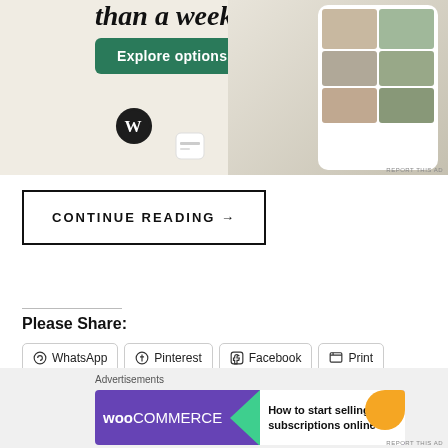[Figure (screenshot): WordPress website builder advertisement with 'than a week' heading, 'Explore options' green button, WordPress logo, and phone mockups showing a food delivery app]
CONTINUE READING →
Please Share:
WhatsApp
Pinterest
Facebook
Print
Reddit
Twitter
Email
More
[Figure (screenshot): WooCommerce advertisement banner: 'How to start selling subscriptions online']